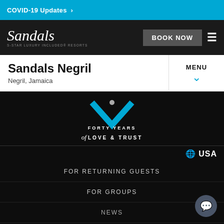COVID-19 Updates >
[Figure (logo): Sandals logo with 'S-STAR LUXURY INCLUDED RESORTS' tagline, BOOK NOW button, and hamburger menu]
Sandals Negril
Negril, Jamaica
MENU
[Figure (illustration): Sandals 40 Years logo: blue chevron/check mark graphic above text FORTY YEARS of LOVE & TRUST]
USA
FOR RETURNING GUESTS
FOR GROUPS
NEWS
FOR TRAVEL AGENTS
FOR AFFILIATES
CONTACT US